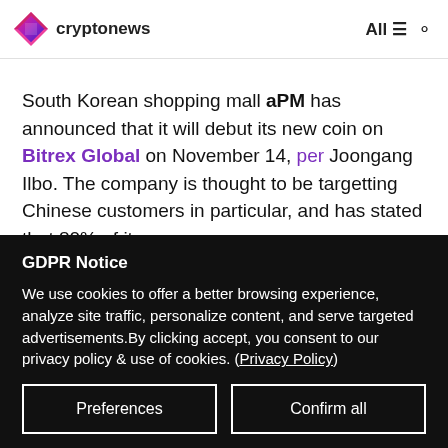cryptonews — All
South Korean shopping mall aPM has announced that it will debut its new coin on Bitrex Global on November 14, per Joongang Ilbo. The company is thought to be targetting Chinese customers in particular, and has stated that 80% of its
GDPR Notice
We use cookies to offer a better browsing experience, analyze site traffic, personalize content, and serve targeted advertisements. By clicking accept, you consent to our privacy policy & use of cookies. (Privacy Policy)
Preferences
Confirm all